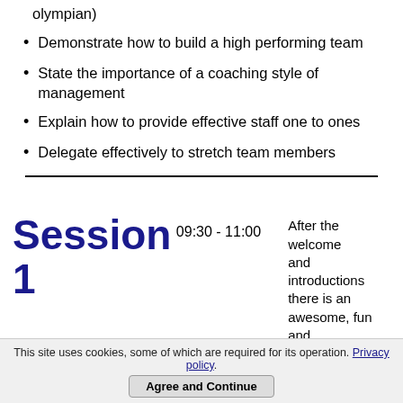olympian)
Demonstrate how to build a high performing team
State the importance of a coaching style of management
Explain how to provide effective staff one to ones
Delegate effectively to stretch team members
Session 1
09:30 - 11:00
After the welcome and introductions there is an awesome, fun and
This site uses cookies, some of which are required for its operation. Privacy policy. Agree and Continue